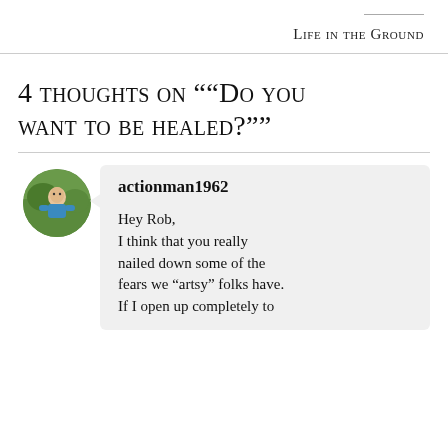Life in the Ground
4 thoughts on "“Do you want to be healed?”"
actionman1962

Hey Rob,
I think that you really nailed down some of the fears we “artsy” folks have. If I open up completely to